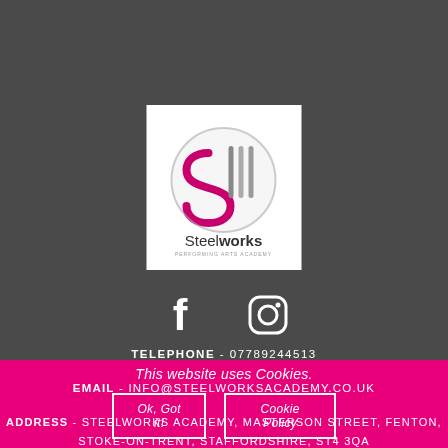[Figure (logo): Steelworks Performing Arts Academy logo — stylized S with vertical lines inside a circle, pink and grey tones, white background]
[Figure (infographic): Facebook and Instagram social media icons in white]
TELEPHONE - 07789244513
EMAIL - INFO@STEELWORKSACADEMY.CO.UK
ADDRESS - STEELWORKS ACADEMY, MASTERSON STREET, FENTON, STOKE-ON-TRENT, STAFFORDSHIRE, ST4 3QA
This website uses Cookies.
Ok, Got it!
Cookie Policy